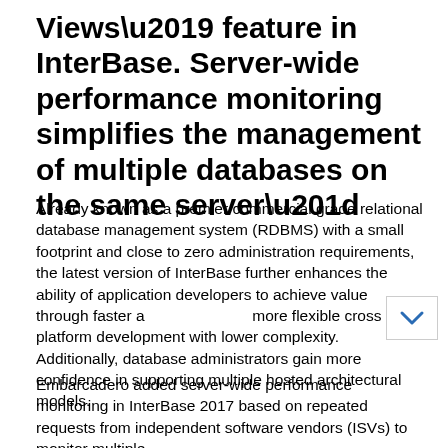Views' feature in InterBase. Server-wide performance monitoring simplifies the management of multiple databases on the same server”
Already known as a premier commercial grade relational database management system (RDBMS) with a small footprint and close to zero administration requirements, the latest version of InterBase further enhances the ability of application developers to achieve value through faster and more flexible cross platform development with lower complexity. Additionally, database administrators gain more confidence in supporting multiple hosted architectural models.
Embarcadero added server-wide performance monitoring in InterBase 2017 based on repeated requests from independent software vendors (ISVs) to monitor multiple databases simultaneously from a hosted solution.